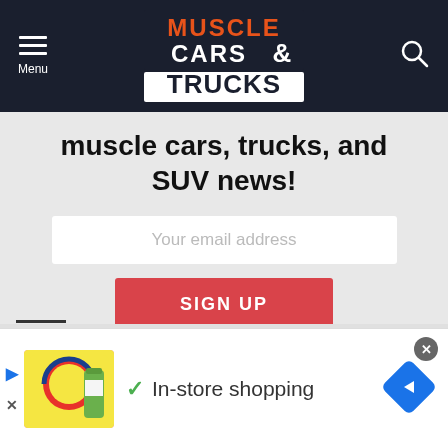[Figure (logo): Muscle Cars & Trucks logo on dark navy header with menu icon and search icon]
muscle cars, trucks, and SUV news!
Your email address
SIGN UP
Don't worry, we don't spam. At all, ever.
[Figure (screenshot): Advertisement banner: Lidl ad with checkmark and 'In-store shopping' text and navigation arrow icon. Close button (x) in top right.]